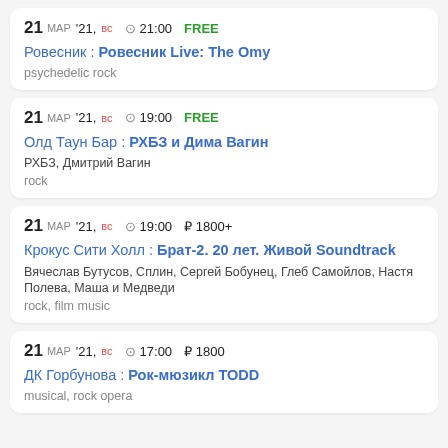21 МАР '21, ВС  ⊙ 21:00  FREE
Ровесник : Ровесник Live: The Omy
psychedelic rock
21 МАР '21, ВС  ⊙ 19:00  FREE
Олд Таун Бар : РХБЗ и Дима Вагин
РХБЗ, Дмитрий Вагин
rock
21 МАР '21, ВС  ⊙ 19:00  ₽1800+
Крокус Сити Холл : Брат-2. 20 лет. Живой Soundtrack
Вячеслав Бутусов, Сплин, Сергей Бобунец, Глеб Самойлов, Настя Полева, Маша и Медведи
rock, film music
21 МАР '21, ВС  ⊙ 17:00  ₽1800
ДК Горбунова : Рок-мюзикл TODD
musical, rock opera